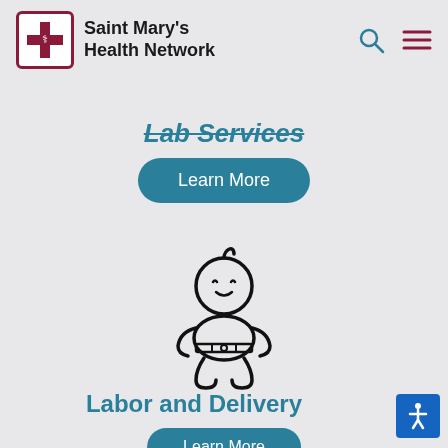[Figure (logo): Saint Mary's Health Network logo with cross icon and text]
Lab Services
Learn More
[Figure (illustration): Baby icon outline illustration - a sitting infant with diaper]
Labor and Delivery